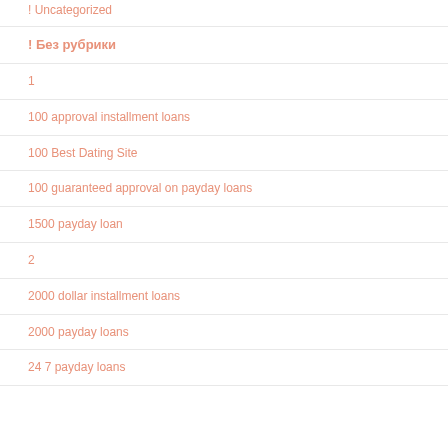! Uncategorized
! Без рубрики
1
100 approval installment loans
100 Best Dating Site
100 guaranteed approval on payday loans
1500 payday loan
2
2000 dollar installment loans
2000 payday loans
24 7 payday loans